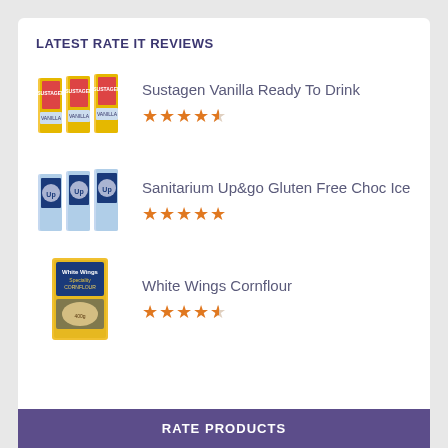LATEST RATE IT REVIEWS
Sustagen Vanilla Ready To Drink
4.5 stars
Sanitarium Up&go Gluten Free Choc Ice
5 stars
White Wings Cornflour
4.5 stars
RATE PRODUCTS